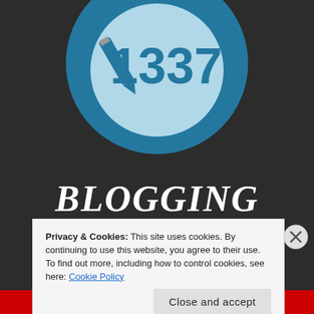[Figure (logo): Partial view of a circular blue logo with '1337' text and a pencil/edit icon on a dark background]
BLOGGING FROM A TO Z
Privacy & Cookies: This site uses cookies. By continuing to use this website, you agree to their use.
To find out more, including how to control cookies, see here: Cookie Policy
Close and accept